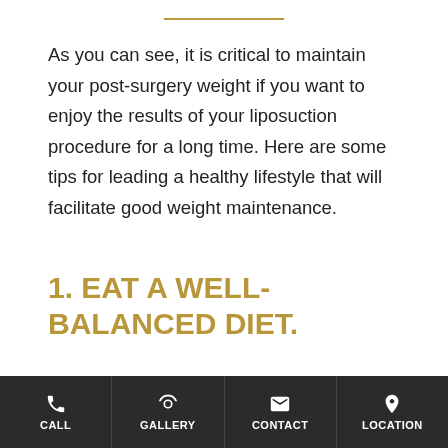As you can see, it is critical to maintain your post-surgery weight if you want to enjoy the results of your liposuction procedure for a long time. Here are some tips for leading a healthy lifestyle that will facilitate good weight maintenance.
1. EAT A WELL-BALANCED DIET.
A healthy, fit body starts in the kitchen. We are going to go over the importance of physical activity later on, but first and foremost, it's important to know that what you eat most directly affects your body shape, size, and overall weight.
CALL  GALLERY  CONTACT  LOCATION